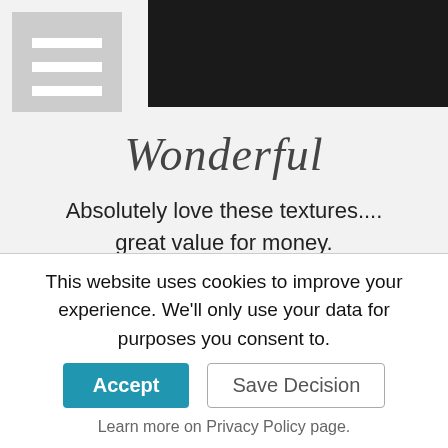[Figure (photo): Dark/black hero image at the top right, partially visible]
[Figure (other): Hamburger menu icon — three white horizontal lines on grey background]
Wonderful
Absolutely love these textures.... great value for money.
Highly recommend anyone who is thinking of buying them!
Just to click on add to cart without
This website uses cookies to improve your experience. We'll only use your data for purposes you consent to.
Accept
Save Decision
Learn more on Privacy Policy page.